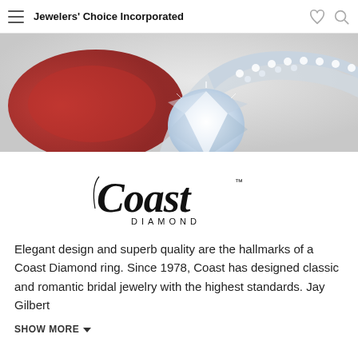Jewelers' Choice Incorporated
[Figure (photo): Close-up photograph of a diamond engagement ring with pavé band on a red velvet jewel box background]
[Figure (logo): Coast Diamond logo in elegant script with 'DIAMOND' in small caps below, with a TM mark]
Elegant design and superb quality are the hallmarks of a Coast Diamond ring. Since 1978, Coast has designed classic and romantic bridal jewelry with the highest standards. Jay Gilbert
SHOW MORE